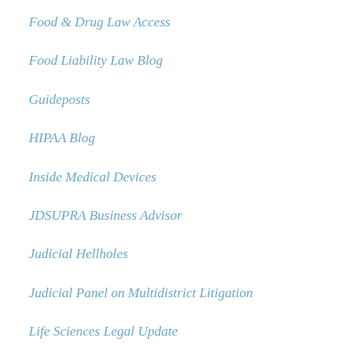Food & Drug Law Access
Food Liability Law Blog
Guideposts
HIPAA Blog
Inside Medical Devices
JDSUPRA Business Advisor
Judicial Hellholes
Judicial Panel on Multidistrict Litigation
Life Sciences Legal Update
Mass Tort Defense
Mass Tort Litigation Blog
Medical Device Blog